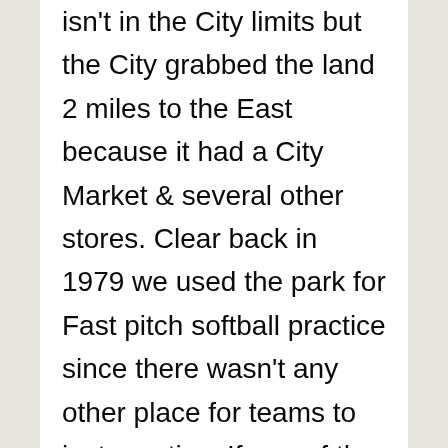isn't in the City limits but the City grabbed the land 2 miles to the East because it had a City Market & several other stores. Clear back in 1979 we used the park for Fast pitch softball practice since there wasn't any other place for teams to just practice. If one of the City Council's members lived by there, it would have been a park a long time ago. No Sale for Burkey Park!